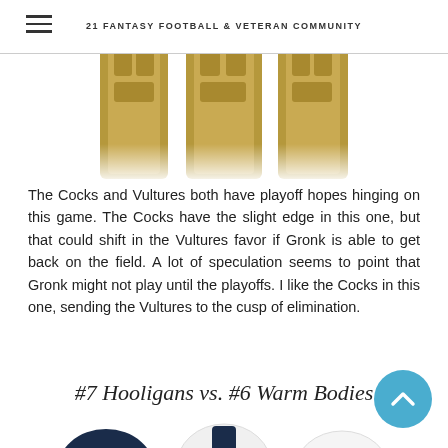21 FANTASY FOOTBALL & VETERAN COMMUNITY
[Figure (illustration): Bottom portion of football uniforms showing khaki/tan pants with padding, cropped at the waist, showing three uniform views side by side]
The Cocks and Vultures both have playoff hopes hinging on this game. The Cocks have the slight edge in this one, but that could shift in the Vultures favor if Gronk is able to get back on the field. A lot of speculation seems to point that Gronk might not play until the playoffs. I like the Cocks in this one, sending the Vultures to the cusp of elimination.
#7 Hooligans vs. #6 Warm Bodies
[Figure (illustration): Football helmets and uniform fronts for two teams — Hooligans (dark navy/green with H logo) and Warm Bodies (white with number 26, NEELY name), shown from multiple angles]